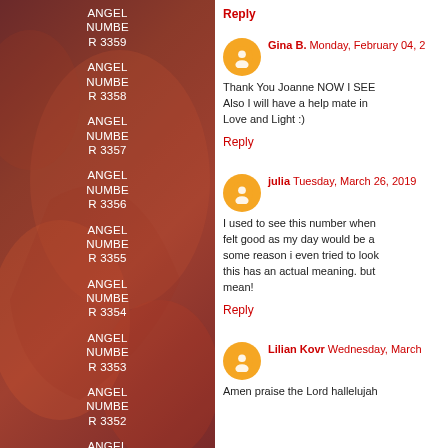ANGEL NUMBER 3359
ANGEL NUMBER 3358
ANGEL NUMBER 3357
ANGEL NUMBER 3356
ANGEL NUMBER 3355
ANGEL NUMBER 3354
ANGEL NUMBER 3353
ANGEL NUMBER 3352
ANGEL NUMBER
Reply
Gina B.  Monday, February 04, 2
Thank You Joanne NOW I SEE Also I will have a help mate in Love and Light :)
Reply
julia  Tuesday, March 26, 2019
I used to see this number when felt good as my day would be a some reason i even tried to look this has an actual meaning. but mean!
Reply
Lilian Kovr  Wednesday, March
Amen praise the Lord hallelujah